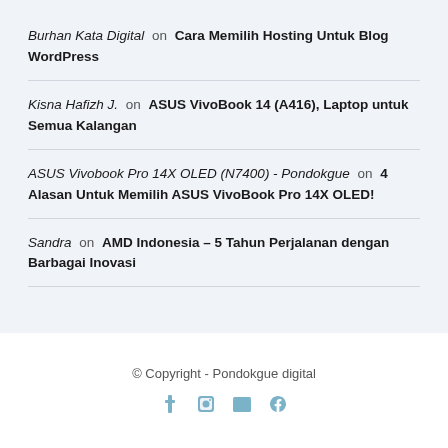Burhan Kata Digital on Cara Memilih Hosting Untuk Blog WordPress
Kisna Hafizh J. on ASUS VivoBook 14 (A416), Laptop untuk Semua Kalangan
ASUS Vivobook Pro 14X OLED (N7400) - Pondokgue on 4 Alasan Untuk Memilih ASUS VivoBook Pro 14X OLED!
Sandra on AMD Indonesia – 5 Tahun Perjalanan dengan Barbagai Inovasi
© Copyright - Pondokgue digital